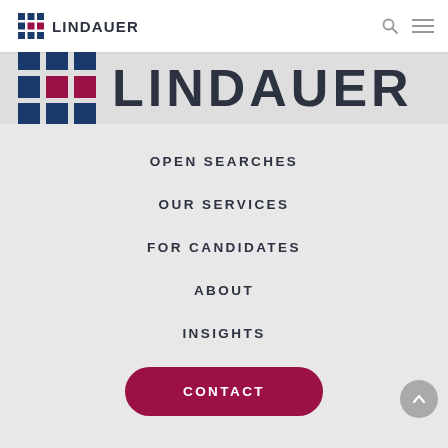[Figure (logo): Lindauer logo in navigation bar - grid of blue and red squares with LINDAUER text]
[Figure (logo): Large Lindauer logo - grid icon with blue and red squares beside large LINDAUER text, on light gray background]
OPEN SEARCHES
OUR SERVICES
FOR CANDIDATES
ABOUT
INSIGHTS
CONTACT